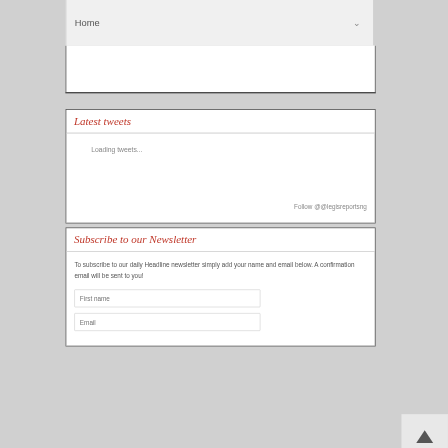Home
Latest tweets
Loading tweets...
Follow @@legisreportsng
Subscribe to our Newsletter
To subscribe to our daily Headline newsletter simply add your name and email below. A confirmation email will be sent to you!
First name
Email